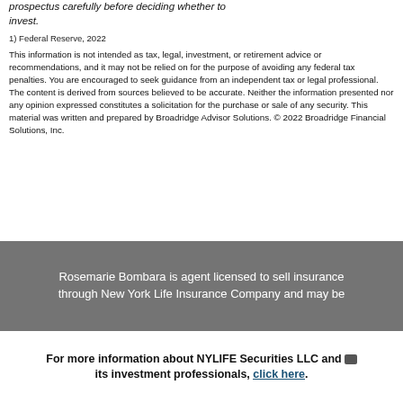prospectus carefully before deciding whether to invest.
1) Federal Reserve, 2022
This information is not intended as tax, legal, investment, or retirement advice or recommendations, and it may not be relied on for the purpose of avoiding any federal tax penalties. You are encouraged to seek guidance from an independent tax or legal professional. The content is derived from sources believed to be accurate. Neither the information presented nor any opinion expressed constitutes a solicitation for the purchase or sale of any security. This material was written and prepared by Broadridge Advisor Solutions. © 2022 Broadridge Financial Solutions, Inc.
Rosemarie Bombara is agent licensed to sell insurance through New York Life Insurance Company and may be
For more information about NYLIFE Securities LLC and its investment professionals, click here.